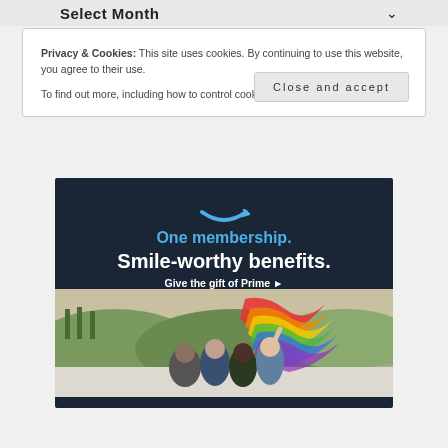Select Month
Privacy & Cookies: This site uses cookies. By continuing to use this website, you agree to their use.
To find out more, including how to control cookies, see here: Cookie Policy
[Figure (illustration): Amazon Prime advertisement with smile logo, text 'One membership. Smile-worthy benefits. Give the gift of Prime ▸', and a photo of joyful people holding a rainbow pride flag out of a vehicle window with hills in background.]